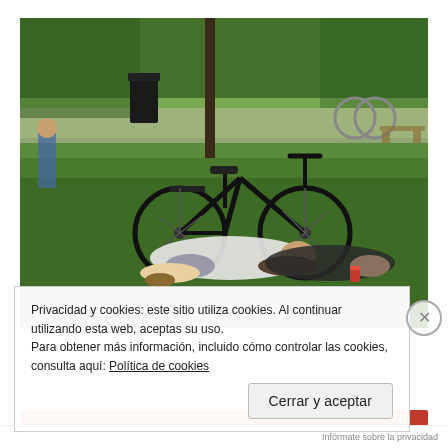[Figure (photo): Photo of two people lying on green grass in a park next to a black bicycle, with more bicycles and people visible in the background.]
Privacidad y cookies: este sitio utiliza cookies. Al continuar utilizando esta web, aceptas su uso.
Para obtener más información, incluido cómo controlar las cookies, consulta aquí: Política de cookies
Cerrar y aceptar